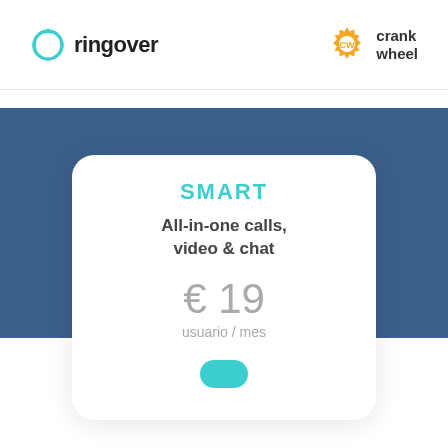[Figure (logo): Ringover logo with teal circular arrows icon and 'ringover' text in dark]
[Figure (logo): CrankWheel logo with orange gear icon and 'crank wheel' text in dark]
SMART
All-in-one calls, video & chat
€ 19
usuario / mes